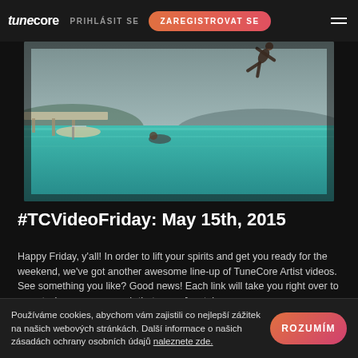tunecore PRIHLÁSIT SE  ZAREGISTROVAT SE
[Figure (photo): Hero image of a person diving into turquoise ocean water near a dock, with boats in the background]
#TCVideoFriday: May 15th, 2015
Happy Friday, y'all! In order to lift your spirits and get you ready for the weekend, we've got another awesome line-up of TuneCore Artist videos. See something you like? Good news! Each link will take you right over to a spot where you can grab that song. [youtube https://www.youtube.com/watch?v=kXDM2xehqCs] Matt Borden, "Jack Daniels Daze" [youtube […]
ARTIST SPOTLIGHT, TCVIDEOFRIDAYS
Používáme cookies, abychom vám zajistili co nejlepší zážitek na našich webových stránkách. Další informace o našich zásadách ochrany osobních údajů naleznete zde.